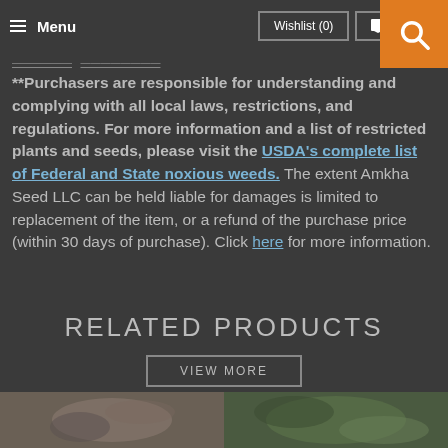Menu | Wishlist (0) | 0 Cart
breadcrumb navigation links
**Purchasers are responsible for understanding and complying with all local laws, restrictions, and regulations. For more information and a list of restricted plants and seeds, please visit the USDA's complete list of Federal and State noxious weeds. The extent Amkha Seed LLC can be held liable for damages is limited to replacement of the item, or a refund of the purchase price (within 30 days of purchase). Click here for more information.
RELATED PRODUCTS
VIEW MORE
[Figure (photo): Two product photos at the bottom of the page - left shows a plant/seed product with light background, right shows a green plant product]